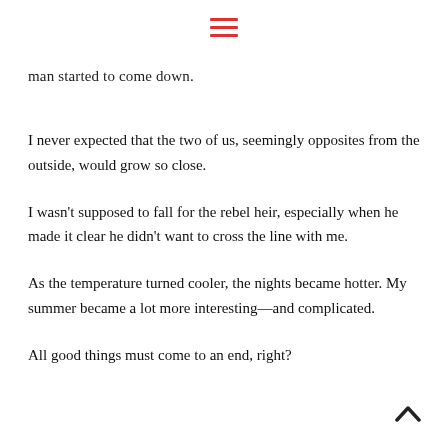[Figure (other): Hamburger menu icon with three horizontal red lines]
man started to come down.
I never expected that the two of us, seemingly opposites from the outside, would grow so close.
I wasn't supposed to fall for the rebel heir, especially when he made it clear he didn't want to cross the line with me.
As the temperature turned cooler, the nights became hotter. My summer became a lot more interesting—and complicated.
All good things must come to an end, right?